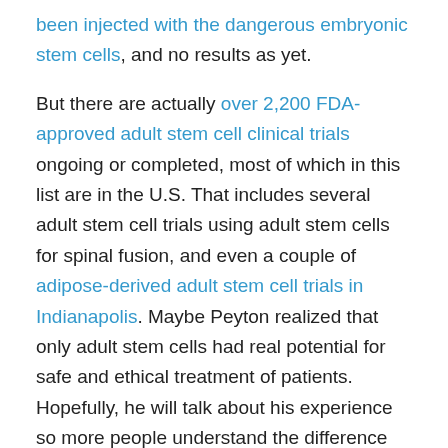been injected with the dangerous embryonic stem cells, and no results as yet.
But there are actually over 2,200 FDA-approved adult stem cell clinical trials ongoing or completed, most of which in this list are in the U.S. That includes several adult stem cell trials using adult stem cells for spinal fusion, and even a couple of adipose-derived adult stem cell trials in Indianapolis. Maybe Peyton realized that only adult stem cells had real potential for safe and ethical treatment of patients. Hopefully, he will talk about his experience so more people understand the difference between embryonic and adult stem cells.